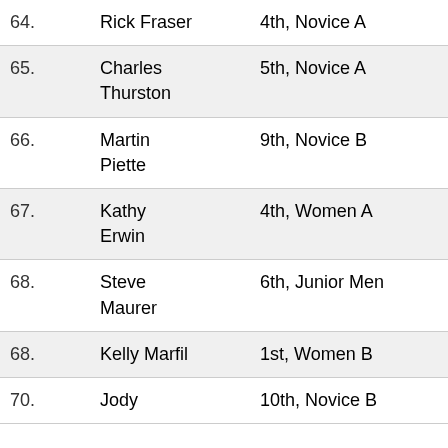| Place | Name | Category | Time |
| --- | --- | --- | --- |
| 64. | Rick Fraser | 4th, Novice A | 1:31:03 |
| 65. | Charles Thurston | 5th, Novice A | 1:31:09 |
| 66. | Martin Piette | 9th, Novice B | 1:31:17 |
| 67. | Kathy Erwin | 4th, Women A | 1:31:23 |
| 68. | Steve Maurer | 6th, Junior Men | 1:31:31 |
| 68. | Kelly Marfil | 1st, Women B | 1:31:31 |
| 70. | Jody | 10th, Novice B | 1:32:15 |